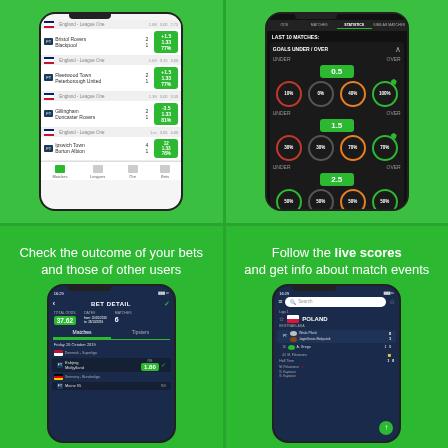[Figure (screenshot): Mobile app screenshot showing football match list with England League One matches, scores, and odds]
[Figure (screenshot): Mobile app screenshot showing statistics for last 10 matches with Goals Under/Over analysis at 0.5, 1.5, and 2.5 thresholds with percentage circles]
Check the outcome of your bets and those of other users
[Figure (screenshot): Mobile app screenshot showing BET DETAIL screen with total odds 37.62, dates from 25/10/2019 to 28/10/2019, matches count 6, showing Friday 26 October 2019 matches including Denmark Superliga Esbjerg vs Midtjylland with odds 1.80]
Follow the live scores and get info about match events
[Figure (screenshot): Mobile app screenshot showing live scores with search bar, POLAND EKSTRAKLASA section with Wisla Plock vs Jagiellonia Bialystok match 0-1, and A. Grego 1-0 match with Half Time score 1-0]